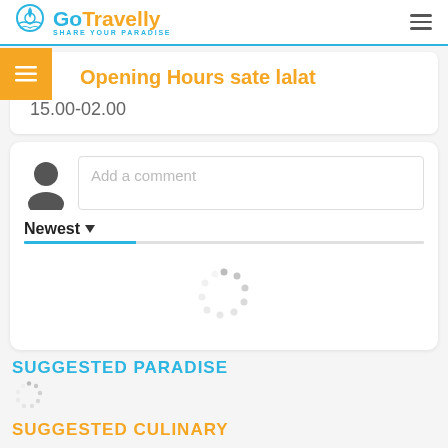GoTravelly — SHARE YOUR PARADISE
Opening Hours sate lalat
15.00-02.00
Add a comment
Newest
[Figure (illustration): Loading spinner (dotted circle) indicating comments are loading]
SUGGESTED PARADISE
[Figure (illustration): Small loading spinner]
SUGGESTED CULINARY